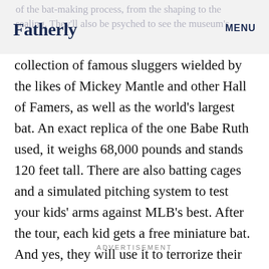Fatherly | MENU
of the bat-making process, from the shaping to the sealing. They'll also be psyched to see the museum's collection of famous sluggers wielded by the likes of Mickey Mantle and other Hall of Famers, as well as the world's largest bat. An exact replica of the one Babe Ruth used, it weighs 68,000 pounds and stands 120 feet tall. There are also batting cages and a simulated pitching system to test your kids' arms against MLB's best. After the tour, each kid gets a free miniature bat. And yes, they will use it to terrorize their siblings.
ADVERTISEMENT